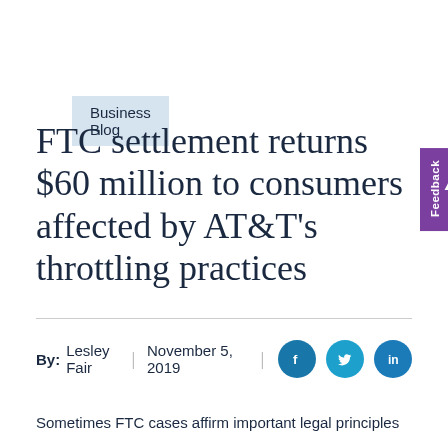Business Blog
FTC settlement returns $60 million to consumers affected by AT&T's throttling practices
By: Lesley Fair | November 5, 2019
Sometimes FTC cases affirm important legal principles